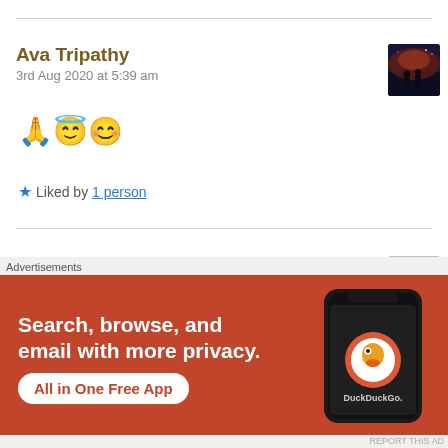Ava Tripathy
3rd Aug 2020 at 5:39 am
🙏😇😊
★ Liked by 1 person
Harbans
3rd Aug 2020 at 1:40 pm
[Figure (screenshot): DuckDuckGo advertisement banner: 'Search, browse, and email with more privacy. All in One Free App' with phone illustration showing DuckDuckGo app]
Advertisements